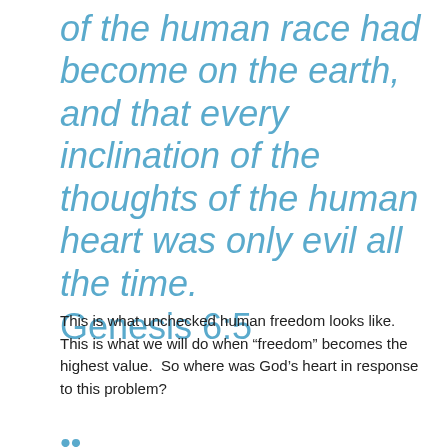of the human race had become on the earth, and that every inclination of the thoughts of the human heart was only evil all the time. Genesis 6:5
This is what unchecked human freedom looks like.  This is what we will do when “freedom” becomes the highest value.  So where was God’s heart in response to this problem?